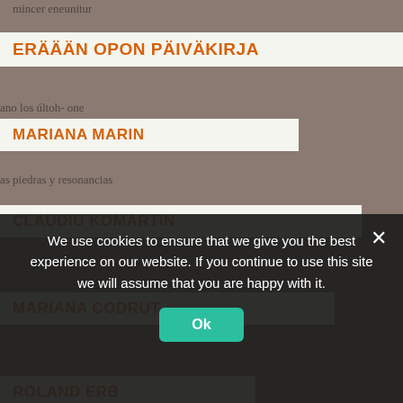ERÄÄÄN OPON PÄIVÄKIRJA
MARIANA MARIN
CLAUDIU KOMARTIN
MARIANA CODRUT
ROLAND ERB
ROMANIAN POETRY
ESSAYS
STORIES
We use cookies to ensure that we give you the best experience on our website. If you continue to use this site we will assume that you are happy with it.
Ok